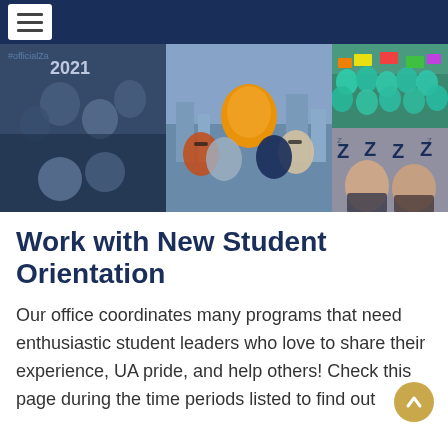Navigation menu
[Figure (photo): Collage of three photo panels: left panel shows students posing with '2021' signage, center panel shows students posing with a mascot (bear in UA gear) with a city skyline background, right panel split top showing a crowd of students in teal/blue shirts with colorful signs, bottom showing two young students posing in front of a backdrop with 'Z' logos.]
Work with New Student Orientation
Our office coordinates many programs that need enthusiastic student leaders who love to share their experience, UA pride, and help others! Check this page during the time periods listed to find out